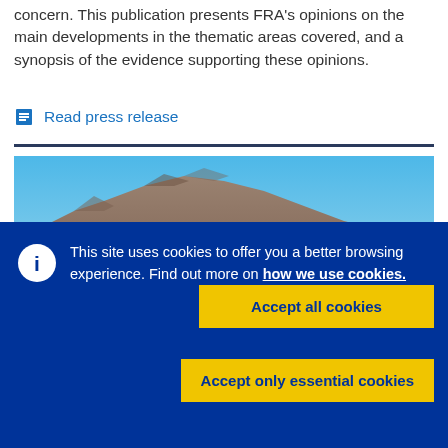concern. This publication presents FRA's opinions on the main developments in the thematic areas covered, and a synopsis of the evidence supporting these opinions.
Read press release
[Figure (photo): Panoramic landscape photograph showing rocky mountains under a clear blue sky, with a body of water visible on the left side.]
This site uses cookies to offer you a better browsing experience. Find out more on how we use cookies.
Accept all cookies
Accept only essential cookies